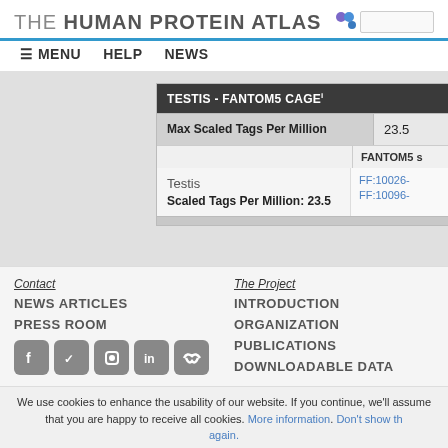THE HUMAN PROTEIN ATLAS
≡ MENU   HELP   NEWS
| TESTIS - FANTOM5 CAGE |  |
| --- | --- |
| Max Scaled Tags Per Million | 23.5 |
|  | FANTOM5 s |
| Testis
Scaled Tags Per Million: 23.5 | FF:10026-
FF:10096- |
Contact
NEWS ARTICLES
PRESS ROOM
The Project
INTRODUCTION
ORGANIZATION
PUBLICATIONS
DOWNLOADABLE DATA
We use cookies to enhance the usability of our website. If you continue, we'll assume that you are happy to receive all cookies. More information. Don't show this again.